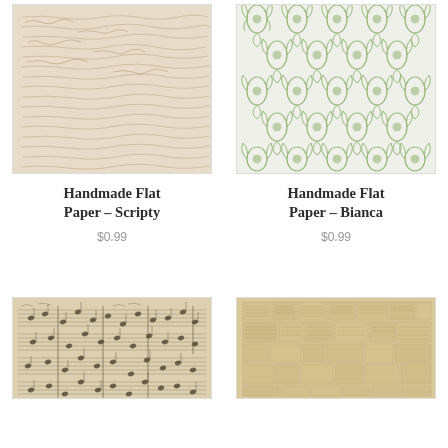[Figure (photo): Aged handwritten script paper texture in beige/tan tones]
Handmade Flat Paper – Scripty
$0.99
[Figure (photo): Green floral damask pattern wallpaper texture on white/cream background]
Handmade Flat Paper – Bianca
$0.99
[Figure (photo): Vintage handwritten sheet music / musical notation paper texture]
[Figure (photo): Aged newspaper collage / text blocks patchwork paper texture in beige]